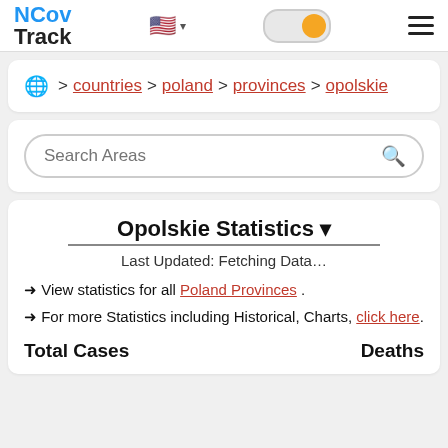NCov Track — navigation header with logo, flag selector, toggle switch, hamburger menu
🌐 > countries > poland > provinces > opolskie
Search Areas
Opolskie Statistics ▾
Last Updated: Fetching Data…
→ View statistics for all Poland Provinces .
→ For more Statistics including Historical, Charts, click here.
Total Cases    Deaths